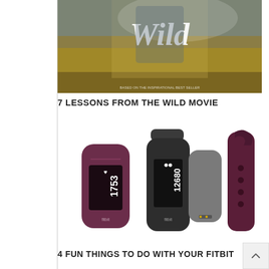[Figure (photo): Movie poster for 'Wild' showing a hiker in nature with stylized Wild text]
7 LESSONS FROM THE WILD MOVIE
[Figure (photo): Fitbit fitness trackers in dark purple/gray colors showing step counts 1753 and 12680]
4 FUN THINGS TO DO WITH YOUR FITBIT